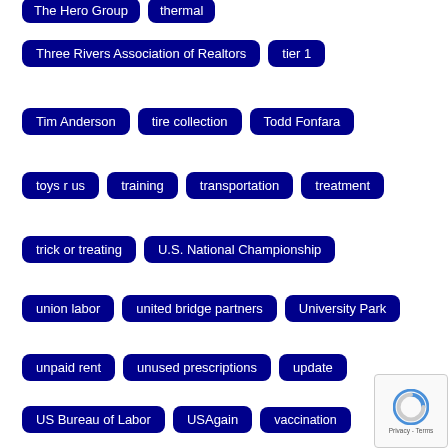The Hero Group
thermal
Three Rivers Association of Realtors
tier 1
Tim Anderson
tire collection
Todd Fonfara
toys r us
training
transportation
treatment
trick or treating
U.S. National Championship
union labor
united bridge partners
University Park
unpaid rent
unused prescriptions
update
US Bureau of Labor
USAgain
vaccination
vaccinations
vaccine
vaccine appointments